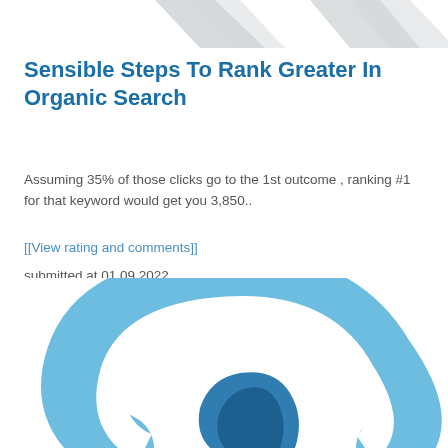[Figure (illustration): Partial decorative graphic at the top of the page showing grey/silver abstract shapes or icons on a white background]
Sensible Steps To Rank Greater In Organic Search
Assuming 35% of those clicks go to the 1st outcome , ranking #1 for that keyword would get you 3,850..
[[View rating and comments]]
submitted at 01.09.2022
[Figure (illustration): Partial view of a blue chain link icon/logo at the bottom of the page, showing a stylized chain link in light blue and dark blue colors]